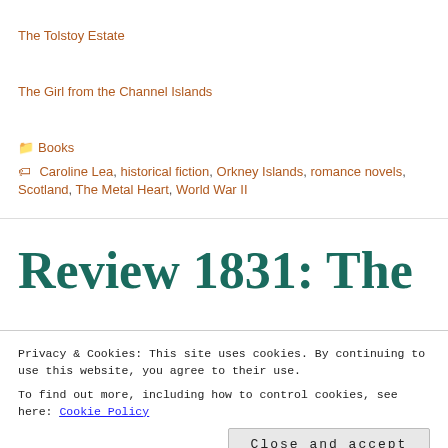The Tolstoy Estate
The Girl from the Channel Islands
Books
Caroline Lea, historical fiction, Orkney Islands, romance novels, Scotland, The Metal Heart, World War II
Review 1831: The
Privacy & Cookies: This site uses cookies. By continuing to use this website, you agree to their use.
To find out more, including how to control cookies, see here: Cookie Policy
Close and accept
Paul Bauer, an army